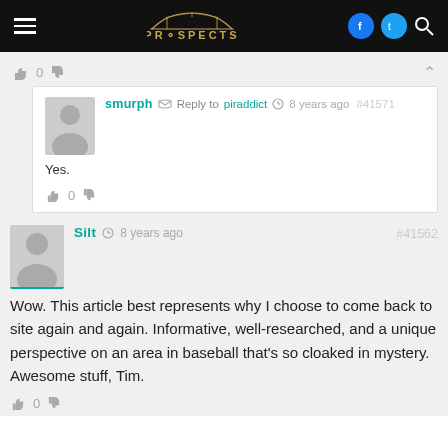PROSPECTS navigation bar
0 votes (thumbs up/down), collapse arrow
smurph Reply to piraddict 8 years ago #41571
Yes.
0 votes
Silt 8 years ago #41562
Wow. This article best represents why I choose to come back to site again and again. Informative, well-researched, and a unique perspective on an area in baseball that's so cloaked in mystery. Awesome stuff, Tim.
0 votes